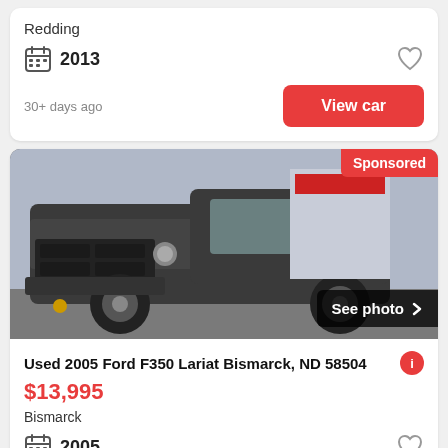Redding
2013
30+ days ago
View car
[Figure (photo): Front view of a dark grey Ford F350 truck, sponsored listing, with 'Sponsored' badge top right and 'See photo >' overlay bottom right]
Used 2005 Ford F350 Lariat Bismarck, ND 58504
$13,995
Bismarck
2005